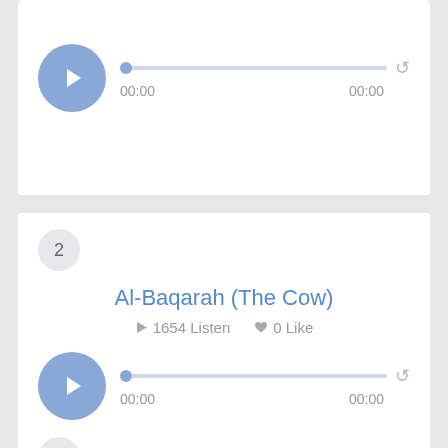[Figure (screenshot): Audio player card with play button, progress bar showing 00:00 / 00:00 and repeat icon]
2
Al-Baqarah (The Cow)
1654 Listen   0 Like
[Figure (screenshot): Audio player card with play button, progress bar showing 00:00 / 00:00 and repeat icon]
3